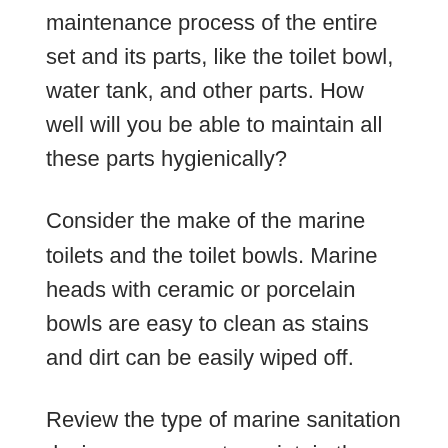maintenance process of the entire set and its parts, like the toilet bowl, water tank, and other parts. How well will you be able to maintain all these parts hygienically?
Consider the make of the marine toilets and the toilet bowls. Marine heads with ceramic or porcelain bowls are easy to clean as stains and dirt can be easily wiped off.
Review the type of marine sanitation device necessary to maintain the marine toilet. Note that there might be a difference in the one suitable for manual heads, electric heads, and so on.